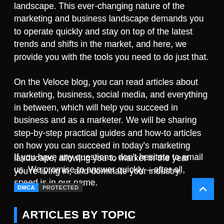landscape. This ever-changing nature of the marketing and business landscape demands you to operate quickly and stay on top of the latest trends and shifts in the market, and here, we provide you with the tools you need to do just that.
On the Veloce blog, you can read articles about marketing, business, social media, and everything in between, which will help you succeed in business and as a marketer. We will be sharing step-by-step practical guides and how-to articles on how you can succeed in today's marketing landscape, allowing you to market in the year you're living in, and dominate your industry.
If you have any questions, don't hesitate to email us. We promise to answer quickly – after all, speed is in our name.
[Figure (other): DMCA Protected badge with blue DMCA label and dark PROTECTED label]
ARTICLES BY TOPIC